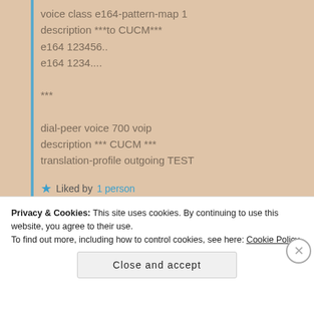voice class e164-pattern-map 1
description ***to CUCM***
e164 123456..
e164 1234....

***

dial-peer voice 700 voip
description *** CUCM ***
translation-profile outgoing TEST
★ Liked by 1 person
Privacy & Cookies: This site uses cookies. By continuing to use this website, you agree to their use.
To find out more, including how to control cookies, see here: Cookie Policy
Close and accept